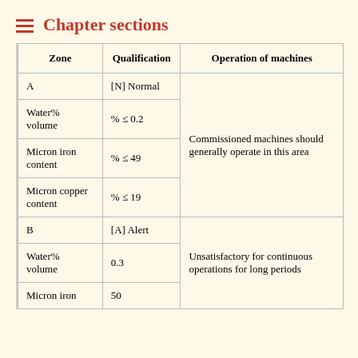Chapter sections
| Zone | Qualification | Operation of machines |
| --- | --- | --- |
| A | [N] Normal | Commissioned machines should generally operate in this area |
| Water% volume | % ≤ 0.2 |  |
| Micron iron content | % ≤ 49 |  |
| Micron copper content | % ≤ 19 |  |
| B | [A] Alert | Unsatisfactory for continuous operations for long periods |
| Water% volume | 0.3 |  |
| Micron iron | 50 |  |